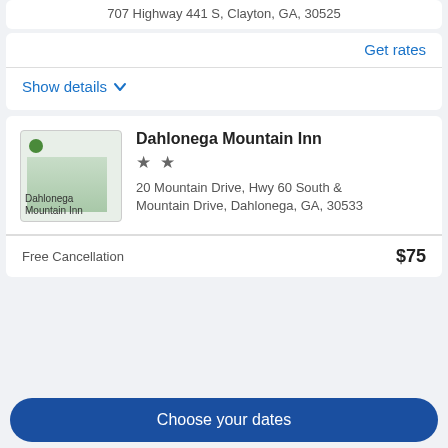707 Highway 441 S, Clayton, GA, 30525
Get rates
Show details
[Figure (photo): Dahlonega Mountain Inn hotel thumbnail image with green landscape]
Dahlonega Mountain Inn
★★
20 Mountain Drive, Hwy 60 South & Mountain Drive, Dahlonega, GA, 30533
Free Cancellation
$75
Choose your dates